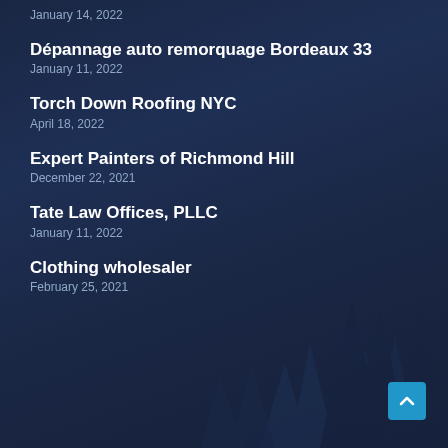January 14, 2022
Dépannage auto remorquage Bordeaux 33
January 11, 2022
Torch Down Roofing NYC
April 18, 2022
Expert Painters of Richmond Hill
December 22, 2021
Tate Law Offices, PLLC
January 11, 2022
Clothing wholesaler
February 25, 2021